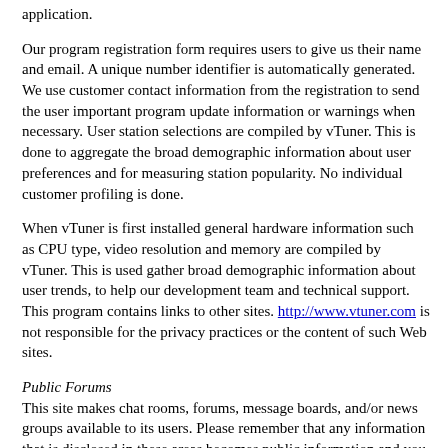application.
Our program registration form requires users to give us their name and email. A unique number identifier is automatically generated. We use customer contact information from the registration to send the user important program update information or warnings when necessary. User station selections are compiled by vTuner. This is done to aggregate the broad demographic information about user preferences and for measuring station popularity. No individual customer profiling is done.
When vTuner is first installed general hardware information such as CPU type, video resolution and memory are compiled by vTuner. This is used gather broad demographic information about user trends, to help our development team and technical support. This program contains links to other sites. http://www.vtuner.com is not responsible for the privacy practices or the content of such Web sites.
Public Forums
This site makes chat rooms, forums, message boards, and/or news groups available to its users. Please remember that any information that is disclosed in these areas becomes public information and you should exercise caution when deciding to disclose your personal information.